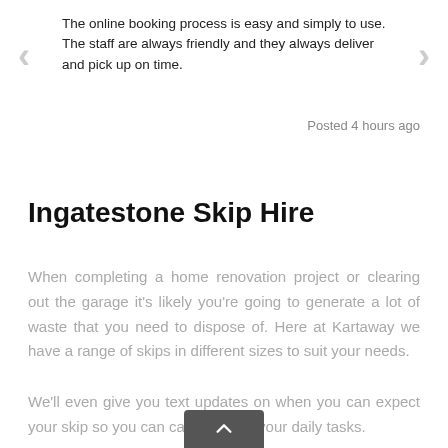The online booking process is easy and simply to use. The staff are always friendly and they always deliver and pick up on time.
Posted 4 hours ago
Ingatestone Skip Hire
When completing a home renovation project or clearing out the garage it's likely you're going to generate a lot of waste that you need to dispose of. Here at Kartaway we have a range of skips in different sizes to suit your needs.
We'll even give you text updates on when you can expect your skip so you can carry on with your daily tasks.